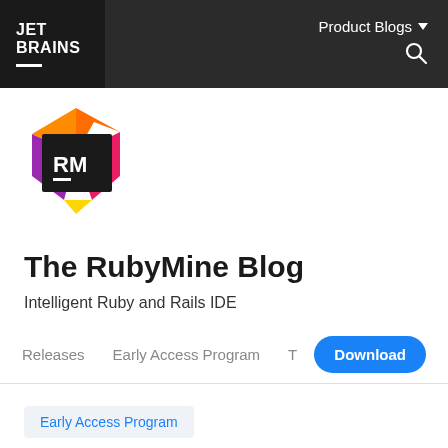JET BRAINS | Product Blogs
[Figure (logo): RubyMine IDE logo: colorful angular shield shape in purple, orange, red, and yellow with a black square containing white 'RM' text and an underscore line]
The RubyMine Blog
Intelligent Ruby and Rails IDE
Releases   Early Access Program   T   Download
Early Access Program